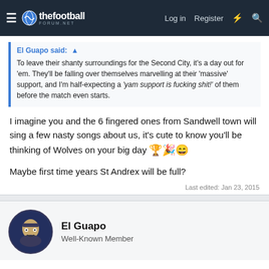thefootballforum.net — Log in  Register
El Guapo said: To leave their shanty surroundings for the Second City, it's a day out for 'em. They'll be falling over themselves marvelling at their 'massive' support, and I'm half-expecting a 'yam support is fucking shit!' of them before the match even starts.
I imagine you and the 6 fingered ones from Sandwell town will sing a few nasty songs about us, it's cute to know you'll be thinking of Wolves on your big day 🏆🎉😄
Maybe first time years St Andrex will be full?
Last edited: Jan 23, 2015
El Guapo
Well-Known Member